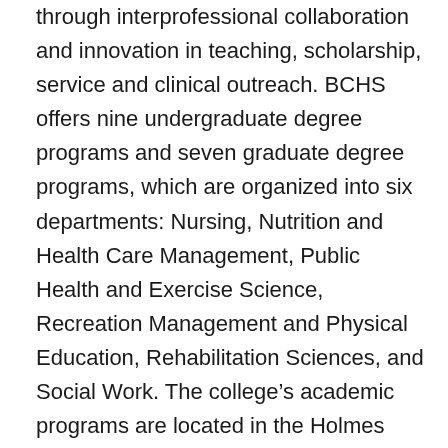through interprofessional collaboration and innovation in teaching, scholarship, service and clinical outreach. BCHS offers nine undergraduate degree programs and seven graduate degree programs, which are organized into six departments: Nursing, Nutrition and Health Care Management, Public Health and Exercise Science, Recreation Management and Physical Education, Rehabilitation Sciences, and Social Work. The college's academic programs are located in the Holmes Convocation Center on App State's main campus and the Leon Levine Hall of Health Sciences, a state-of-the-art, 203,000-square-foot facility that is the cornerstone of the Wellness District. In addition, the college supports the Blue Cross NC Institute for Health and Human Services and has collaborative partnerships with the Wake Forest School of Medicine's Physician Assistant Program, the Appalachian Regional Health